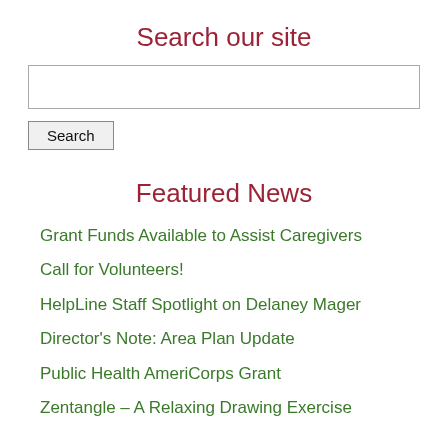Search our site
[Figure (screenshot): Search input text box]
Search
Featured News
Grant Funds Available to Assist Caregivers
Call for Volunteers!
HelpLine Staff Spotlight on Delaney Mager
Director's Note: Area Plan Update
Public Health AmeriCorps Grant
Zentangle – A Relaxing Drawing Exercise